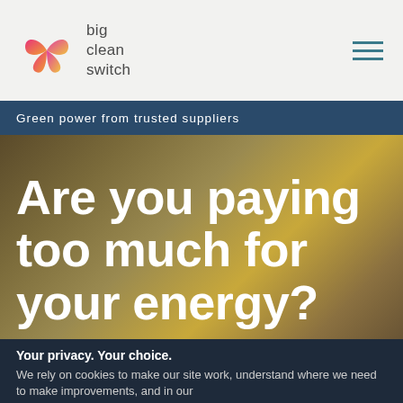[Figure (logo): Big Clean Switch logo — butterfly icon in pink/orange gradient with brand name text]
Green power from trusted suppliers
Are you paying too much for your energy?
Switch in minutes to a great value
Your privacy. Your choice.
We rely on cookies to make our site work, understand where we need to make improvements, and in our